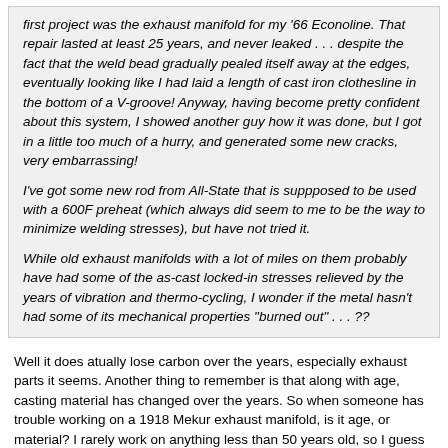first project was the exhaust manifold for my '66 Econoline. That repair lasted at least 25 years, and never leaked . . . despite the fact that the weld bead gradually pealed itself away at the edges, eventually looking like I had laid a length of cast iron clothesline in the bottom of a V-groove! Anyway, having become pretty confident about this system, I showed another guy how it was done, but I got in a little too much of a hurry, and generated some new cracks, very embarrassing!

I've got some new rod from All-State that is suppposed to be used with a 600F preheat (which always did seem to me to be the way to minimize welding stresses), but have not tried it.

While old exhaust manifolds with a lot of miles on them probably have had some of the as-cast locked-in stresses relieved by the years of vibration and thermo-cycling, I wonder if the metal hasn't had some of its mechanical properties "burned out" . . . ??
Well it does atually lose carbon over the years, especially exhaust parts it seems. Another thing to remember is that along with age, casting material has changed over the years. So when someone has trouble working on a 1918 Mekur exhaust manifold, is it age, or material? I rarely work on anything less than 50 years old, so I guess im used to dealing with older materials, and age in general. That being said my experience with electric weld failures is also on that age of parts. By far I have the best luck with O/A welding of castings, yes its a bit slower, and hot work, but the result is beautiful. The welds really dont have a bead shape, they really just disappear, and the weld and base metal is so soft when done a file cuts it like butter. I have done